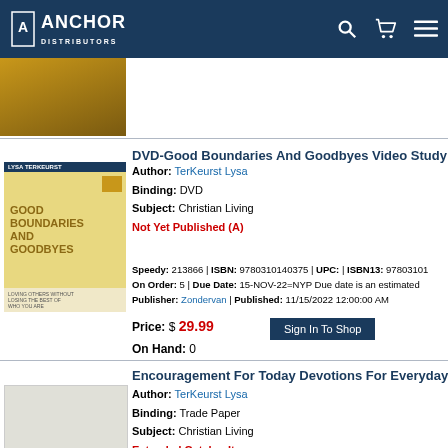Anchor Distributors
DVD-Good Boundaries And Goodbyes Video Study Lov
Author: TerKeurst Lysa | Binding: DVD | Subject: Christian Living | Not Yet Published (A)
Speedy: 213866 | ISBN: 9780310140375 | UPC: | ISBN13: 97803101 | On Order: 5 | Due Date: 15-NOV-22=NYP Due date is an estimated | Publisher: Zondervan | Published: 11/15/2022 12:00:00 AM
Price: $ 29.99 | On Hand: 0
Encouragement For Today Devotions For Everyday Liv
Author: TerKeurst Lysa | Binding: Trade Paper | Subject: Christian Living | Extended Catalog Item